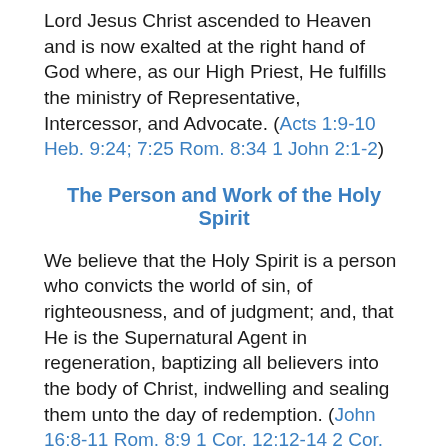Lord Jesus Christ ascended to Heaven and is now exalted at the right hand of God where, as our High Priest, He fulfills the ministry of Representative, Intercessor, and Advocate. (Acts 1:9-10 Heb. 9:24; 7:25 Rom. 8:34 1 John 2:1-2)
The Person and Work of the Holy Spirit
We believe that the Holy Spirit is a person who convicts the world of sin, of righteousness, and of judgment; and, that He is the Supernatural Agent in regeneration, baptizing all believers into the body of Christ, indwelling and sealing them unto the day of redemption. (John 16:8-11 Rom. 8:9 1 Cor. 12:12-14 2 Cor. 3:6 Eph. 1:13-14) We believe that He is the divine Teacher who assists believers to understand and appropriate the Scriptures and that it is the privilege and duty of all the saved to be filled with the Spirit (Eph. 1:17-18; 5:18 1 John 2:20, 27) We believe that God is sovereign in the bestowal of spiritual gifts to every believer. God uniquely uses evangelists, pastors, and